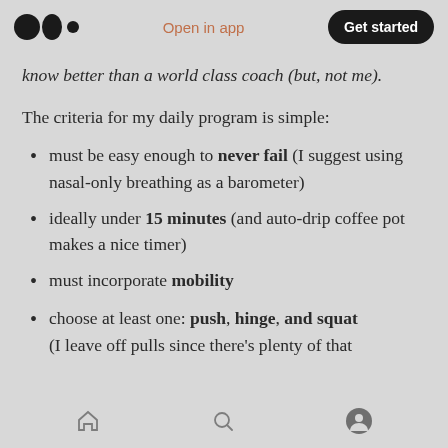Open in app | Get started
know better than a world class coach (but, not me).
The criteria for my daily program is simple:
must be easy enough to never fail (I suggest using nasal-only breathing as a barometer)
ideally under 15 minutes (and auto-drip coffee pot makes a nice timer)
must incorporate mobility
choose at least one: push, hinge, and squat (I leave off pulls since there's plenty of that
home | search | profile